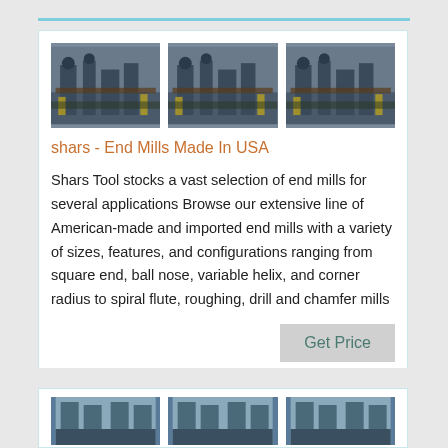[Figure (photo): Three industrial machinery photos showing pipes and equipment in a row]
shars - End Mills Made In USA
Shars Tool stocks a vast selection of end mills for several applications Browse our extensive line of American-made and imported end mills with a variety of sizes, features, and configurations ranging from square end, ball nose, variable helix, and corner radius to spiral flute, roughing, drill and chamfer mills
[Figure (photo): Three industrial silo/column photos in a row (partial, bottom of page)]